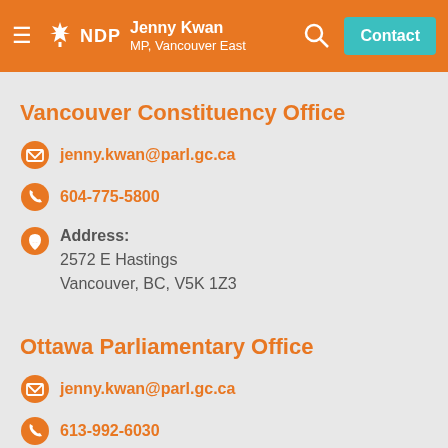Jenny Kwan MP, Vancouver East — NDP — Contact
Vancouver Constituency Office
jenny.kwan@parl.gc.ca
604-775-5800
Address: 2572 E Hastings Vancouver, BC, V5K 1Z3
Ottawa Parliamentary Office
jenny.kwan@parl.gc.ca
613-992-6030
Address: House of Commons Ottawa, ON K1A 0A6 (postage-free)